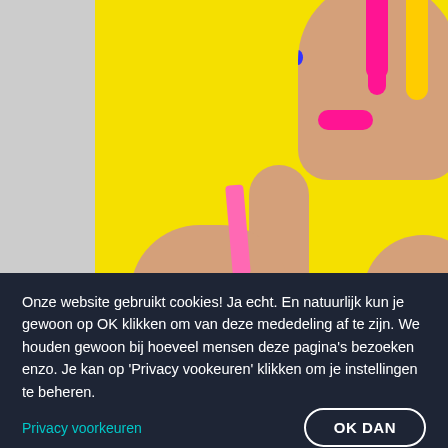[Figure (photo): Fashion photo of a woman with bright pink lips and colorful paint dripping on her head, against a vivid yellow background. She wears a pink top strap. Blue earring visible.]
Onze website gebruikt cookies! Ja echt. En natuurlijk kun je gewoon op OK klikken om van deze mededeling af te zijn. We houden gewoon bij hoeveel mensen deze pagina's bezoeken enzo. Je kan op 'Privacy vookeuren' klikken om je instellingen te beheren.
Privacy voorkeuren
OK DAN